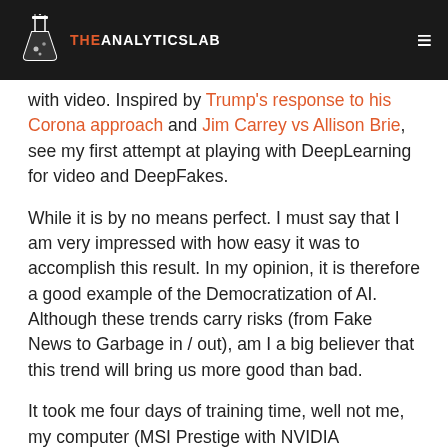THE ANALYTICS LAB
with video. Inspired by Trump's response to his Corona approach and Jim Carrey vs Allison Brie, see my first attempt at playing with DeepLearning for video and DeepFakes.
While it is by no means perfect. I must say that I am very impressed with how easy it was to accomplish this result. In my opinion, it is therefore a good example of the Democratization of AI. Although these trends carry risks (from Fake News to Garbage in / out), am I a big believer that this trend will bring us more good than bad.
It took me four days of training time, well not me, my computer (MSI Prestige with NVIDIA GTX1070). While it was crunching, I was actually away for the weekend. Personally I think I didn't spend more